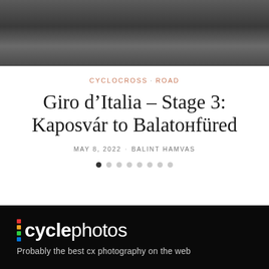[Figure (photo): Partial photo of people outdoors, dark/muted tones, cropped at top]
CYCLOCROSS · ROAD
Giro d'Italia – Stage 3: Kaposvár to Balatonfüred
MAY 8, 2022 · BALINT HAMVAS
[Figure (other): Slideshow navigation dots — one filled black, seven empty]
[Figure (logo): cyclephotos logo with colored dots and tagline 'Probably the best cx photography on the web']